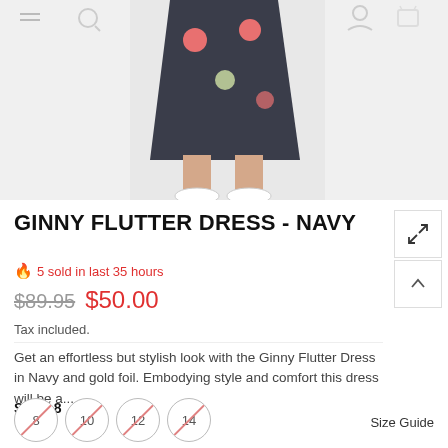[Figure (photo): Product photo of a child wearing a dark navy dress with polka dots and white sneakers, cropped to show lower half of the dress and legs]
GINNY FLUTTER DRESS - NAVY
🔥 5 sold in last 35 hours
$89.95  $50.00
Tax included.
Get an effortless but stylish look with the Ginny Flutter Dress in Navy and gold foil. Embodying style and comfort this dress will be a...
SIZE: 8
8  10  12  14
Size Guide